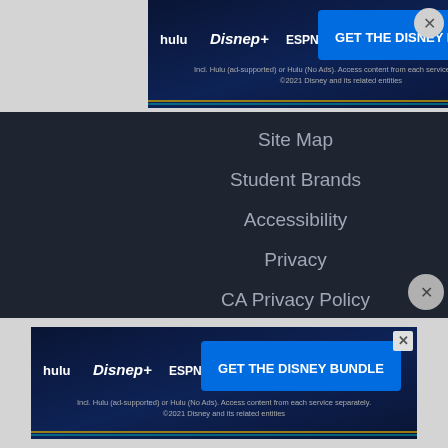[Figure (screenshot): Top Disney Bundle advertisement banner showing Hulu, Disney+, ESPN+ logos with 'GET THE DISNEY BUNDLE' button and fine print text]
Site Map
Student Brands
Accessibility
Privacy
CA Privacy Policy
SUPPORT
Help
Contact Us
CA Do Not Sell My Personal Information
[Figure (screenshot): Bottom Disney Bundle advertisement banner showing Hulu, Disney+, ESPN+ logos with 'GET THE DISNEY BUNDLE' button and fine print text]